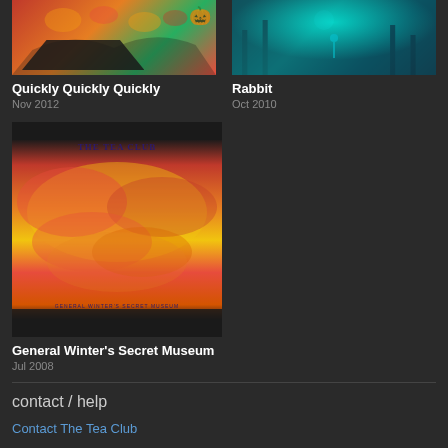[Figure (photo): Album art for Quickly Quickly Quickly - colorful orange/red/green Halloween-style illustration with jack-o-lantern]
Quickly Quickly Quickly
Nov 2012
[Figure (photo): Album art for Rabbit - dark teal/blue image with figure and radiating light]
Rabbit
Oct 2010
[Figure (photo): Album art for General Winter's Secret Museum - The Tea Club album with red/orange/yellow cloudy sky on cream background, black borders top and bottom]
General Winter's Secret Museum
Jul 2008
contact / help
Contact The Tea Club